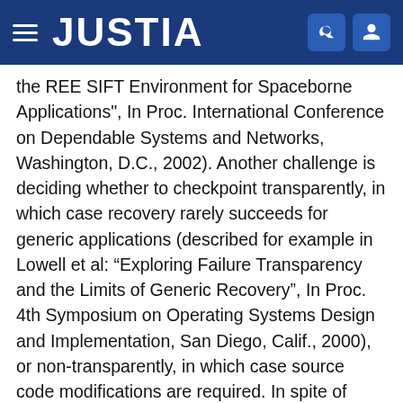JUSTIA
the REE SIFT Environment for Spaceborne Applications", In Proc. International Conference on Dependable Systems and Networks, Washington, D.C., 2002). Another challenge is deciding whether to checkpoint transparently, in which case recovery rarely succeeds for generic applications (described for example in Lowell et al: “Exploring Failure Transparency and the Limits of Generic Recovery", In Proc. 4th Symposium on Operating Systems Design and Implementation, San Diego, Calif., 2000), or non-transparently, in which case source code modifications are required. In spite of these problems, checkpointing is a useful technique for making applications restartable, and is sometimes used with a watchdog daemon process to provide fault tolerance for long-running UNIX programs.
Additional techniques to minimize, detect, and recover